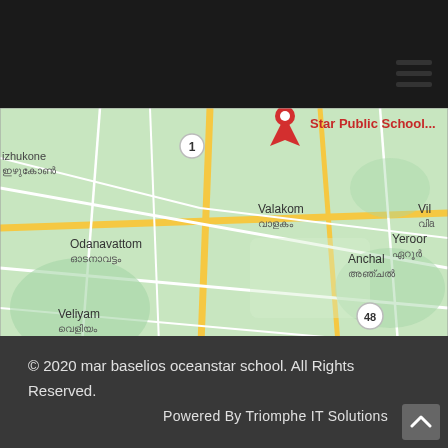[Figure (map): Google Maps screenshot showing area around Star Public School in Kerala, India, with place names in English and Malayalam including Valakom, Odanavattom, Veliyam, Anchal, Yeroor, and road markers 1 and 48.]
© 2020 mar baselios oceanstar school. All Rights Reserved.
Powered By Triomphe IT Solutions